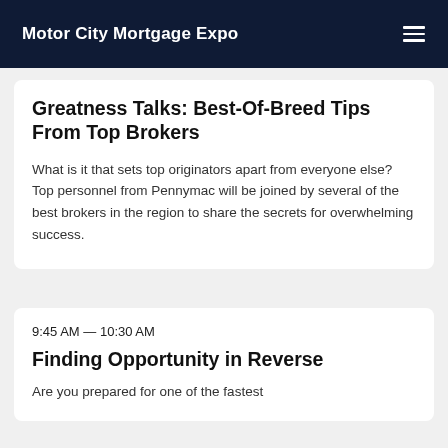Motor City Mortgage Expo
Greatness Talks: Best-Of-Breed Tips From Top Brokers
What is it that sets top originators apart from everyone else? Top personnel from Pennymac will be joined by several of the best brokers in the region to share the secrets for overwhelming success.
9:45 AM — 10:30 AM
Finding Opportunity in Reverse
Are you prepared for one of the fastest